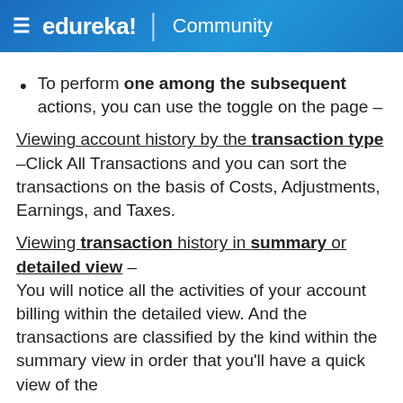☰ edureka! | Community
To perform one among the subsequent actions, you can use the toggle on the page –
Viewing account history by the transaction type –Click All Transactions and you can sort the transactions on the basis of Costs, Adjustments, Earnings, and Taxes.
Viewing transaction history in summary or detailed view – You will notice all the activities of your account billing within the detailed view. And the transactions are classified by the kind within the summary view in order that you'll have a quick view of the